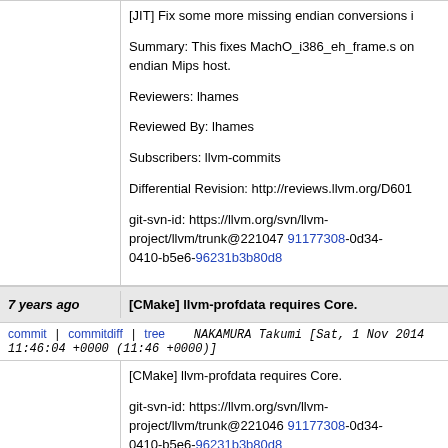[JIT] Fix some more missing endian conversions i...

Summary: This fixes MachO_i386_eh_frame.s on... endian Mips host.

Reviewers: lhames

Reviewed By: lhames

Subscribers: llvm-commits

Differential Revision: http://reviews.llvm.org/D601...

git-svn-id: https://llvm.org/svn/llvm-project/llvm/trunk@221047 91177308-0d34-0410-b5e6-96231b3b80d8
7 years ago	[CMake] llvm-profdata requires Core.
commit | commitdiff | tree	NAKAMURA Takumi [Sat, 1 Nov 2014 11:46:04 +0000 (11:46 +0000)]
[CMake] llvm-profdata requires Core.

git-svn-id: https://llvm.org/svn/llvm-project/llvm/trunk@221046 91177308-0d34-0410-b5e6-96231b3b80d8